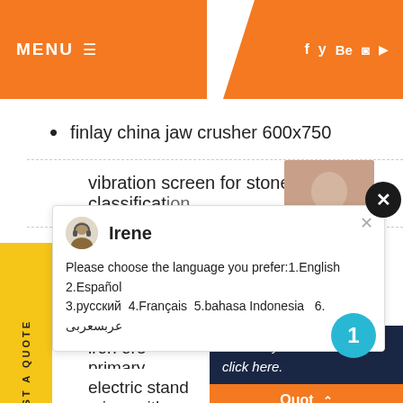MENU ≡  f  y  Bē  ⊕  ▶
finlay china jaw crusher 600x750
vibration screen for stone classification
Irene
Please choose the language you prefer:1.English  2.Español  3.русский  4.Français  5.bahasa Indonesia  6. عربسعربى
iron ore primary chrushing
electric stand mixer with grinder
dolomite quarry mining in kajang m...
Have any m... click here.
Quot▲
Enquiry
drobilkalm